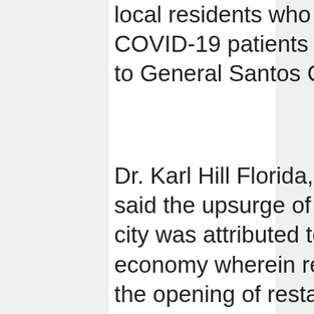local residents who were co-passengers of the COVID-19 patients during their flight from Manila to General Santos City.
Dr. Karl Hill Florida, local IATF spokesperson, said the upsurge of COVID-19 infection in the city was attributed to the opening of the local economy wherein restrictions were relaxed after the opening of restaurants and entertainment bars during the Modified General Community Quarantine status of the city last January.
The virus had infected several workplaces in the local government wherein several city hall employees and policemen got